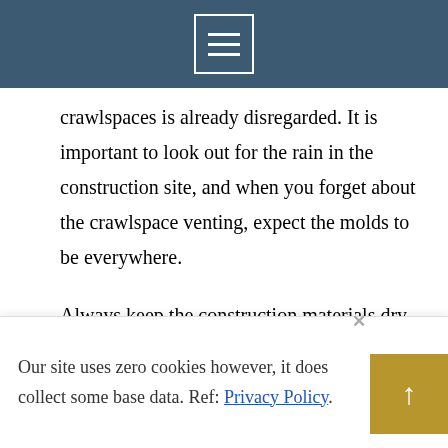☰ (menu icon)
crawlspaces is already disregarded. It is important to look out for the rain in the construction site, and when you forget about the crawlspace venting, expect the molds to be everywhere.
Always keep the construction materials dry and away from possible sources of moisture. If you spot that some materials are wet, dry them out immediately. Go to Info4Runners Review to learn more about this issue.
Our site uses zero cookies however, it does collect some base data. Ref: Privacy Policy.